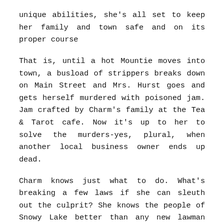unique abilities, she's all set to keep her family and town safe and on its proper course
That is, until a hot Mountie moves into town, a busload of strippers breaks down on Main Street and Mrs. Hurst goes and gets herself murdered with poisoned jam. Jam crafted by Charm's family at the Tea & Tarot cafe. Now it's up to her to solve the murders-yes, plural, when another local business owner ends up dead.
Charm knows just what to do. What's breaking a few laws if she can sleuth out the culprit? She knows the people of Snowy Lake better than any new lawman possibly could. Sow why can't he just leave her be to get on with things?